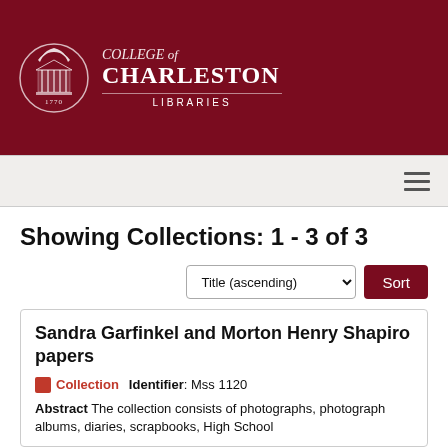[Figure (logo): College of Charleston Libraries logo with seal and text on dark red background]
College of Charleston Libraries
Showing Collections: 1 - 3 of 3
Title (ascending) Sort
Sandra Garfinkel and Morton Henry Shapiro papers
Collection   Identifier: Mss 1120
Abstract The collection consists of photographs, photograph albums, diaries, scrapbooks, High School